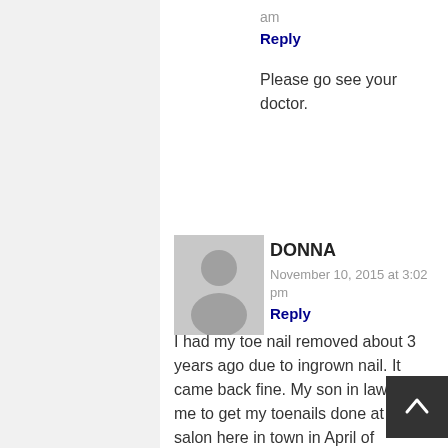am
Reply
Please go see your doctor.
[Figure (illustration): Gray avatar/profile placeholder image showing a silhouette of a person]
DONNA
November 10, 2015 at 3:02 pm
Reply
I had my toe nail removed about 3 years ago due to ingrown nail. It came back fine. My son in law took me to get my toenails done at a salon here in town in April of